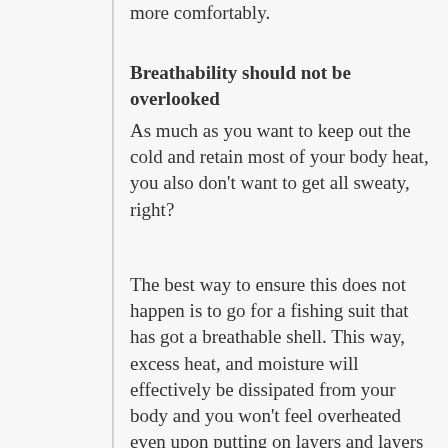more comfortably.
Breathability should not be overlooked
As much as you want to keep out the cold and retain most of your body heat, you also don't want to get all sweaty, right?
The best way to ensure this does not happen is to go for a fishing suit that has got a breathable shell. This way, excess heat, and moisture will effectively be dissipated from your body and you won't feel overheated even upon putting on layers and layers of clothing which is something you have to do while ice fishing.